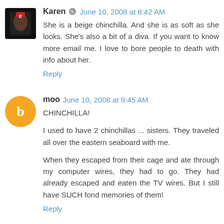Karen · June 10, 2008 at 8:42 AM
She is a beige chinchilla. And she is as soft as she looks. She's also a bit of a diva. If you want to know more email me. I love to bore people to death with info about her.
Reply
moo  June 10, 2008 at 9:45 AM
CHINCHILLA!
I used to have 2 chinchillas ... sisters. They traveled all over the eastern seaboard with me.
When they escaped from their cage and ate through my computer wires, they had to go. They had already escaped and eaten the TV wires. But I still have SUCH fond memories of them!
Reply